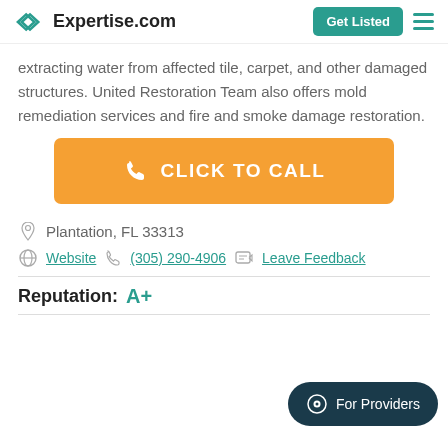Expertise.com | Get Listed
extracting water from affected tile, carpet, and other damaged structures. United Restoration Team also offers mold remediation services and fire and smoke damage restoration.
[Figure (other): Orange 'CLICK TO CALL' call-to-action button with phone icon]
Plantation, FL 33313
Website  (305) 290-4906  Leave Feedback
Reputation: A+
[Figure (other): For Providers chat button in bottom right corner]